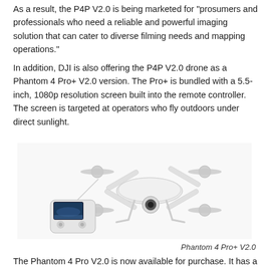As a result, the P4P V2.0 is being marketed for “prosumers and professionals who need a reliable and powerful imaging solution that can cater to diverse filming needs and mapping operations.”
In addition, DJI is also offering the P4P V2.0 drone as a Phantom 4 Pro+ V2.0 version. The Pro+ is bundled with a 5.5-inch, 1080p resolution screen built into the remote controller. The screen is targeted at operators who fly outdoors under direct sunlight.
[Figure (photo): Photo of a DJI Phantom 4 Pro+ V2.0 drone (white quadcopter) shown alongside its remote controller which has a built-in 5.5-inch screen displaying a landscape image.]
Phantom 4 Pro+ V2.0
The Phantom 4 Pro V2.0 is now available for purchase. It has a